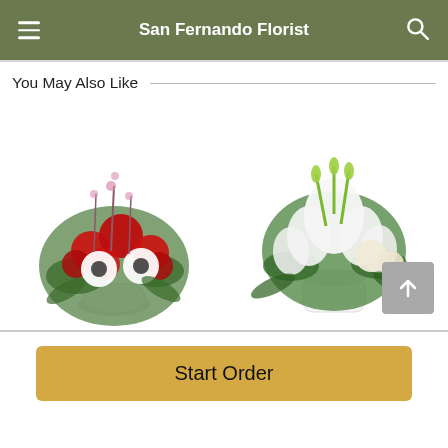San Fernando Florist
You May Also Like
[Figure (photo): Two flower bouquet arrangements side by side: left is a red and white arrangement with carnations and gerbera daisies in a white vase; right is a white lily and rose arrangement in a white cylindrical vase. A grey scroll-to-top arrow button overlays the bottom right.]
Start Order